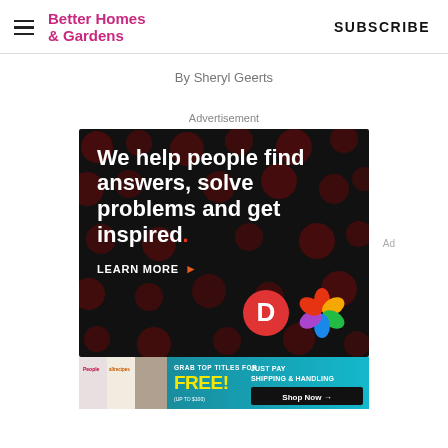Better Homes & Gardens | SUBSCRIBE
By Sheryl Geerts
Advertisement
[Figure (other): Advertisement banner: black background with dark red dot pattern, large white bold text reading 'We help people find answers, solve problems and get inspired.' with a red period. Below: LEARN MORE with orange arrow. Bottom right: Dotdash (D) logo in red circle and colorful petal/flower logo.]
[Figure (other): Bottom banner advertisement: teal/cyan background showing magazine covers for People and allrecipes, plus a photo, with text 'GRAB TOP TITLES FOR FREE! (UP TO $100) JUST PAY SHIPPING & HANDLING Shop Now →']